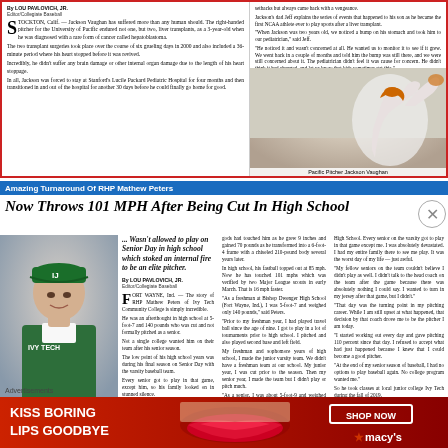[Figure (photo): Top news box with two-column layout. Left column: article about Jackson Vaughan liver transplant. Right column: text and photo of Pacific Pitcher Jackson Vaughan throwing a baseball, wearing orange uniform.]
Amazing Turnaround Of RHP Mathew Peters
Now Throws 101 MPH After Being Cut In High School
[Figure (photo): Headshot photo of Mathew Peters wearing green Ivy Tech Community College baseball uniform and cap.]
Wasn't allowed to play on Senior Day in high school which stoked an internal fire to be an elite pitcher.
By LOU PAVLOVICH, JR. Editor/Collegiate Baseball
FORT WAYNE, Ind. — The story of RHP Mathew Peters of Ivy Tech Community College is simply incredible. He was an afterthought in high school at 5-foot-7 and 140 pounds who was cut and not formally pitched as a senior. Not a single college wanted him on their team after his senior season. The low point of his high school years was during his final season on Senior Day with the varsity baseball team. Every senior got to play in that game, except him, so his family looked on in stunned silence. The embarrassment Peters felt was unbearable. This incident drove this young
gods had touched him as he grew 9 inches and gained 70 pounds as he transformed into a 6-foot-4 frame with a chiseled 210-pound body several years later. In high school, his fastball topped out at 85 mph. Now he has touched 101 mphs which was verified by two Major League scouts in early March. That is 16 mph faster.
High School. Every senior on the varsity got to play in that game except me. I was absolutely devastated. I had my entire family there to see me play. It was the worst day of my life — just awful. "My fellow seniors on the team couldn't believe I didn't play as well. I didn't talk to the head coach on the team after the game because there was absolutely nothing I could say. I wanted to turn in my jersey after that game, but I didn't."
Advertisements
[Figure (photo): Macy's advertisement banner with red background, text 'KISS BORING LIPS GOODBYE', woman's face with red lips, 'SHOP NOW' button, and Macy's star logo.]